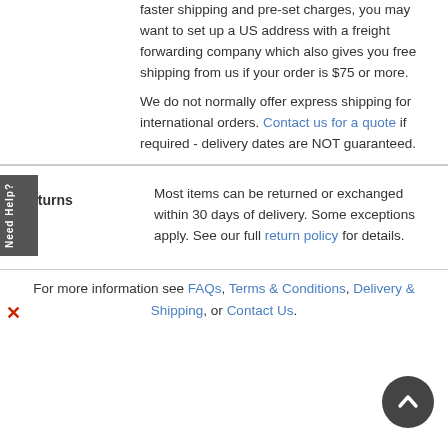faster shipping and pre-set charges, you may want to set up a US address with a freight forwarding company which also gives you free shipping from us if your order is $75 or more.
We do not normally offer express shipping for international orders. Contact us for a quote if required - delivery dates are NOT guaranteed.
|  |  |
| --- | --- |
| Returns | Most items can be returned or exchanged within 30 days of delivery. Some exceptions apply. See our full return policy for details. |
For more information see FAQs, Terms & Conditions, Delivery & Shipping, or Contact Us.
[Figure (other): Scroll to top circular button with upward arrow]